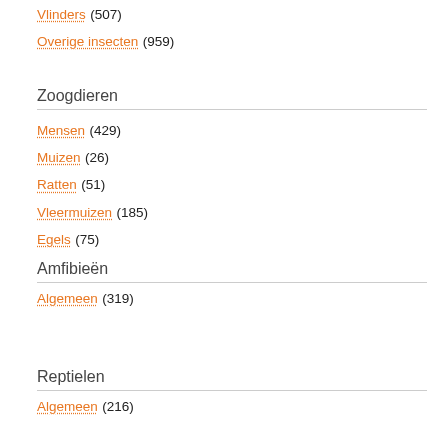Vlinders (507)
Overige insecten (959)
Zoogdieren
Mensen (429)
Muizen (26)
Ratten (51)
Vleermuizen (185)
Egels (75)
Amfibieën
Algemeen (319)
Reptielen
Algemeen (216)